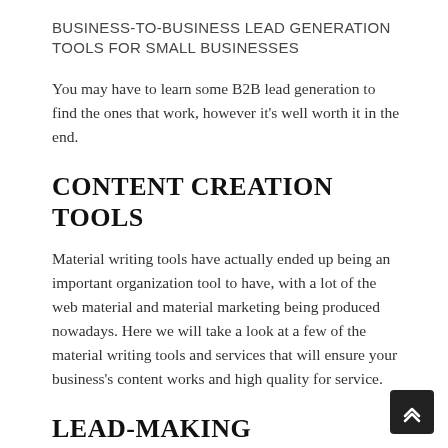BUSINESS-TO-BUSINESS LEAD GENERATION TOOLS FOR SMALL BUSINESSES
You may have to learn some B2B lead generation to find the ones that work, however it's well worth it in the end.
CONTENT CREATION TOOLS
Material writing tools have actually ended up being an important organization tool to have, with a lot of the web material and material marketing being produced nowadays. Here we will take a look at a few of the material writing tools and services that will ensure your business's content works and high quality for service.
LEAD-MAKING BLOGGING